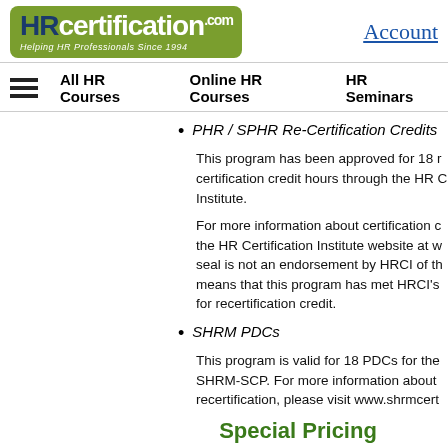HRcertification.com — Helping HR Professionals Since 1994 | Account
All HR Courses  Online HR Courses  HR Seminars
PHR / SPHR Re-Certification Credits
This program has been approved for 18 recertification credit hours through the HR Certification Institute.
For more information about certification credits, visit the HR Certification Institute website at www... seal is not an endorsement by HRCI of the... means that this program has met HRCI's criteria for recertification credit.
SHRM PDCs
This program is valid for 18 PDCs for the SHRM-SCP. For more information about recertification, please visit www.shrmcert...
Special Pricing